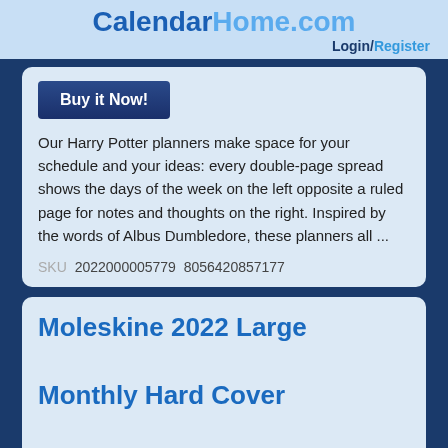CalendarHome.com Login/Register
Buy it Now!
Our Harry Potter planners make space for your schedule and your ideas: every double-page spread shows the days of the week on the left opposite a ruled page for notes and thoughts on the right. Inspired by the words of Albus Dumbledore, these planners all ...
SKU  2022000005779  8056420857177
Moleskine 2022 Large Monthly Hard Cover Planner (Black)